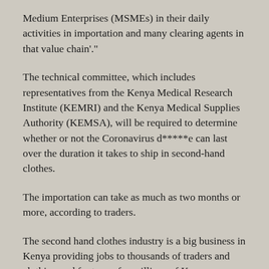Medium Enterprises (MSMEs) in their daily activities in importation and many clearing agents in that value chain'."
The technical committee, which includes representatives from the Kenya Medical Research Institute (KEMRI) and the Kenya Medical Supplies Authority (KEMSA), will be required to determine whether or not the Coronavirus d*****e can last over the duration it takes to ship in second-hand clothes.
The importation can take as much as two months or more, according to traders.
The second hand clothes industry is a big business in Kenya providing jobs to thousands of traders and clothing and footwear for millions of Kenyans.